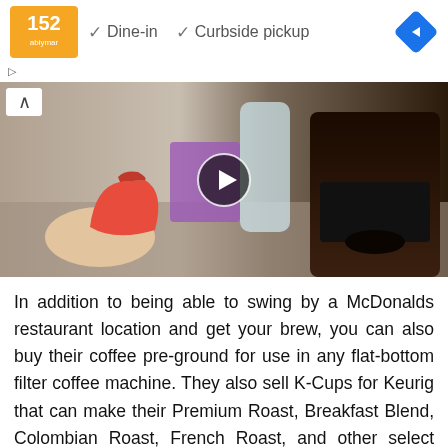[Figure (screenshot): Advertisement bar showing a restaurant logo with orange background, checkmark icons for 'Dine-in' and 'Curbside pickup' options, and a blue navigation diamond icon on the right]
[Figure (photo): Video thumbnail showing a hand holding a red measuring cup next to a coffee maker on a countertop, with a play button overlay in the center]
In addition to being able to swing by a McDonalds restaurant location and get your brew, you can also buy their coffee pre-ground for use in any flat-bottom filter coffee machine. They also sell K-Cups for Keurig that can make their Premium Roast, Breakfast Blend, Colombian Roast, French Roast, and other select roasts. Keurig has partnered with McDonalds not only to provide black coffee but also K-Cup versions of their espresso drinks. Of course, nothing can replace a real